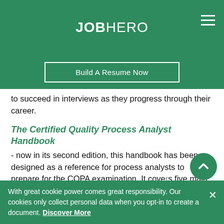JOBHERO
Build A Resume Now
to succeed in interviews as they progress through their career.
The Certified Quality Process Analyst Handbook
- now in its second edition, this handbook has been designed as a reference for process analysts to prepare for the CQPA examination. It covers five main sections of Quality Concepts and Tools, Problem Solving and Improvement, Data Analysis
With great cookie power comes great responsibility. Our cookies only collect personal data when you opt-in to create a document. Discover More